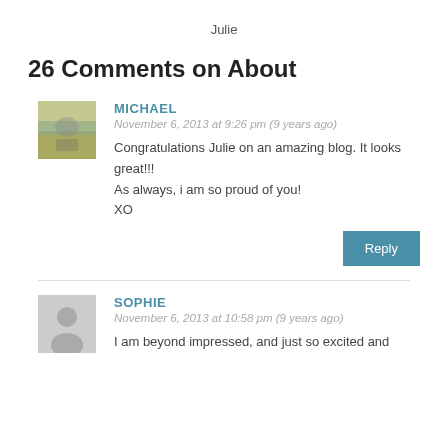Julie
26 Comments on About
MICHAEL
November 6, 2013 at 9:26 pm (9 years ago)
Congratulations Julie on an amazing blog. It looks great!!!
As always, i am so proud of you!
XO
SOPHIE
November 6, 2013 at 10:58 pm (9 years ago)
I am beyond impressed, and just so excited and